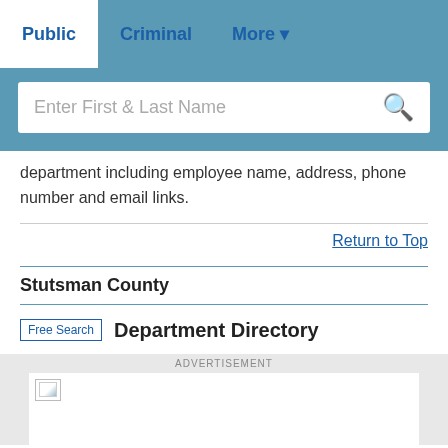Public | Criminal | More
[Figure (screenshot): Search bar with placeholder text 'Enter First & Last Name' and a search icon]
department including employee name, address, phone number and email links.
Return to Top
Stutsman County
Free Search  Department Directory
[Figure (other): Advertisement banner placeholder with small image icon]